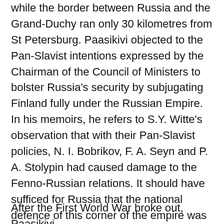while the border between Russia and the Grand-Duchy ran only 30 kilometres from St Petersburg. Paasikivi objected to the Pan-Slavist intentions expressed by the Chairman of the Council of Ministers to bolster Russia's security by subjugating Finland fully under the Russian Empire. In his memoirs, he refers to S.Y. Witte's observation that with their Pan-Slavist policies, N. I. Bobrikov, F. A. Seyn and P. A. Stolypin had caused damage to the Fenno-Russian relations. It should have sufficed for Russia that the national defence of this corner of the empire was secured. (8)
After the First World War broke out, Paasikivi